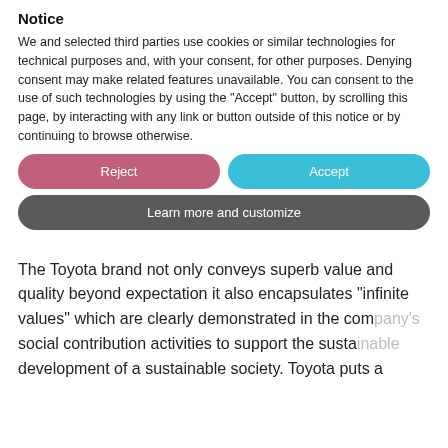4th December 2020
We're proudly supporting our client Toyota's Christmas Foodbank Appeal
The Toyota brand not only conveys superb value and quality beyond expectation it also encapsulates "infinite values" which are clearly demonstrated in the company's social contribution activities to support the sustainable development of a sustainable society. Toyota puts a
Notice
We and selected third parties use cookies or similar technologies for technical purposes and, with your consent, for other purposes. Denying consent may make related features unavailable. You can consent to the use of such technologies by using the "Accept" button, by scrolling this page, by interacting with any link or button outside of this notice or by continuing to browse otherwise.
Reject
Accept
Learn more and customize